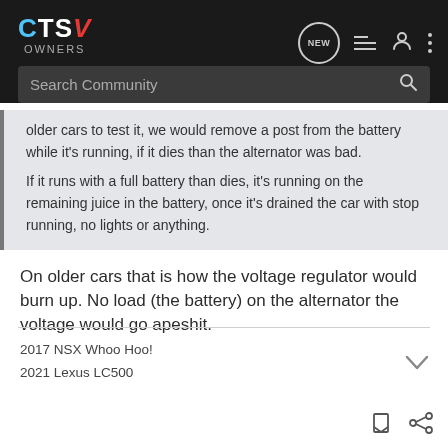[Figure (logo): CTSv OWNERS logo with nav icons including NEW bubble, list icon, user icon, and three dots menu]
Search Community
older cars to test it, we would remove a post from the battery while it's running, if it dies than the alternator was bad.
If it runs with a full battery than dies, it's running on the remaining juice in the battery, once it's drained the car with stop running, no lights or anything.
On older cars that is how the voltage regulator would burn up. No load (the battery) on the alternator the voltage would go apeshit.
2017 NSX Whoo Hoo!
2021 Lexus LC500